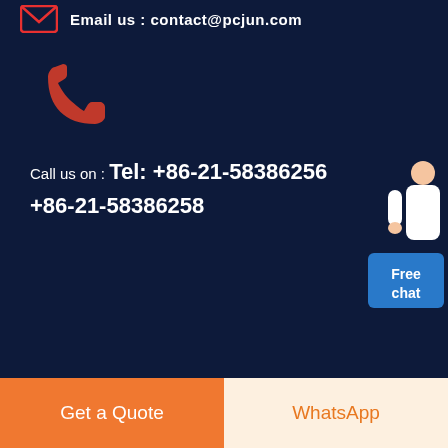Email us : contact@pcjun.com
[Figure (illustration): Red phone/call icon]
Call us on : Tel: +86-21-58386256 +86-21-58386258
[Figure (illustration): Free chat widget with customer service figure and blue button]
[Figure (logo): SKS Mining Machine logo — red circle with ME symbol, grey SKS text and Mining Machine subtitle]
[Figure (illustration): Dark circular scroll-to-top button with upward chevron]
After more than 30 years of steady development, China's largest d...
Get a Quote
WhatsApp